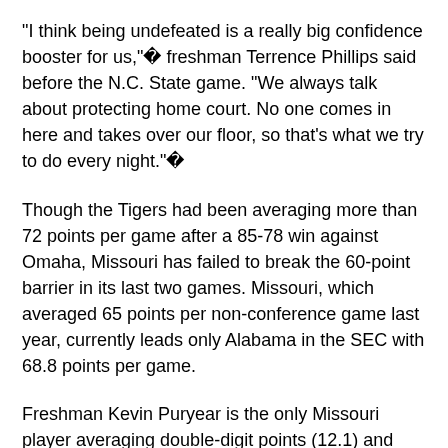"I think being undefeated is a really big confidence booster for us,"¿ freshman Terrence Phillips said before the N.C. State game. "We always talk about protecting home court. No one comes in here and takes over our floor, so that's what we try to do every night."¿
Though the Tigers had been averaging more than 72 points per game after a 85-78 win against Omaha, Missouri has failed to break the 60-point barrier in its last two games. Missouri, which averaged 65 points per non-conference game last year, currently leads only Alabama in the SEC with 68.8 points per game.
Freshman Kevin Puryear is the only Missouri player averaging double-digit points (12.1) and shooting guard Namon Wright is currently the team's top rebounder with 4.8 per game.
Illinois, meanwhile, has three players scoring 10 or more